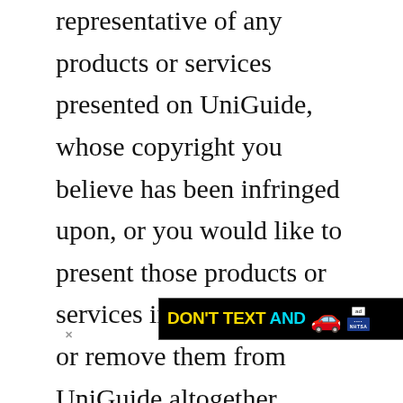representative of any products or services presented on UniGuide, whose copyright you believe has been infringed upon, or you would like to present those products or services in a different way, or remove them from UniGuide altogether, please contact us. The products, services, images, and original manufacturer product information presented on UniGuide that is the property of the makers of those products is only used in a
[Figure (infographic): Advertisement banner with black background reading 'DON'T TEXT AND' in yellow and cyan text with a red car emoji, ad badge, and NHTSA logo]